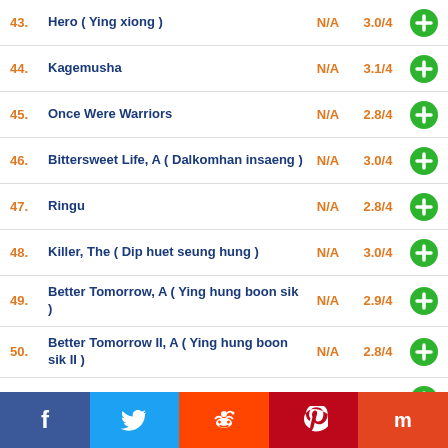43. Hero ( Ying xiong ) N/A 3.0/4
44. Kagemusha N/A 3.1/4
45. Once Were Warriors N/A 2.8/4
46. Bittersweet Life, A ( Dalkomhan insaeng ) N/A 3.0/4
47. Ringu N/A 2.8/4
48. Killer, The ( Dip huet seung hung ) N/A 3.0/4
49. Better Tomorrow, A ( Ying hung boon sik ) N/A 2.9/4
50. Better Tomorrow II, A ( Ying hung boon sik II ) N/A 2.8/4
51. Hard Boiled ( Lat sau san taam ) N/A 2.9/4
52. Violent Cop, The ( Sono otoko, kyôbô ni tsuki ) N/A 2.9/4